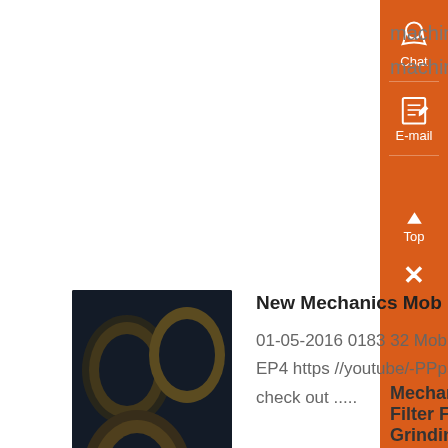machines options are availe to you, such as qualitative, filling machine, and quantitative...
Know More
[Figure (photo): Rolls of industrial filter/grinding material stacked, dark metallic and brown/gold colored cylindrical rolls]
New Mechanics Mob Filter, Grinder and Item Collector ,
01-05-2016 0183 32 Mob Filter, Grinder and Item Collector - TutorialConfused? Watch EP4 https //youtube/-PPp51i3L9E and EP5 https //youtube/UIFUwDlsSnUBe sure to check out .....
Know More
Mechanical Filter For Grinding